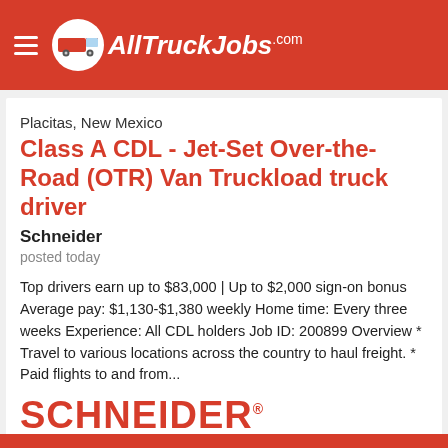AllTruckJobs.com
Placitas, New Mexico
Class A CDL - Jet-Set Over-the-Road (OTR) Van Truckload truck driver
Schneider
posted today
Top drivers earn up to $83,000 | Up to $2,000 sign-on bonus Average pay: $1,130-$1,380 weekly Home time: Every three weeks Experience: All CDL holders Job ID: 200899 Overview * Travel to various locations across the country to haul freight. * Paid flights to and from...
[Figure (logo): Schneider company logo in red with orange-red angled bar underneath]